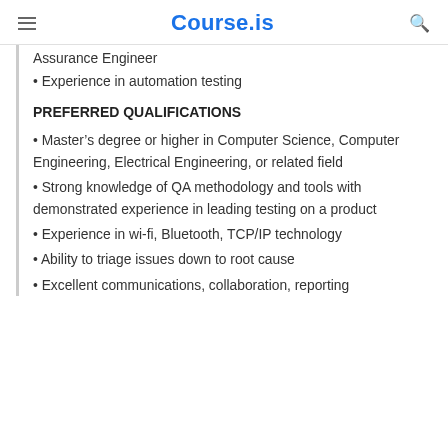Course.is
Assurance Engineer
• Experience in automation testing
PREFERRED QUALIFICATIONS
• Master's degree or higher in Computer Science, Computer Engineering, Electrical Engineering, or related field
• Strong knowledge of QA methodology and tools with demonstrated experience in leading testing on a product
• Experience in wi-fi, Bluetooth, TCP/IP technology
• Ability to triage issues down to root cause
• Excellent communications, collaboration, reporting